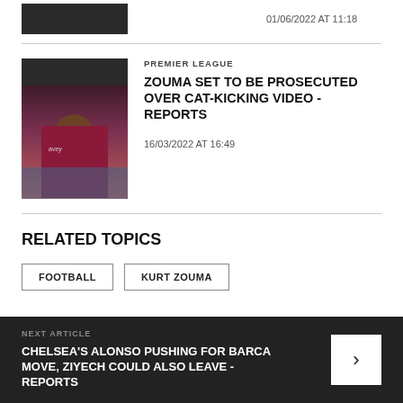01/06/2022 AT 11:18
[Figure (photo): Photo of a football player in a claret and blue West Ham jersey]
PREMIER LEAGUE
ZOUMA SET TO BE PROSECUTED OVER CAT-KICKING VIDEO - REPORTS
16/03/2022 AT 16:49
RELATED TOPICS
FOOTBALL
KURT ZOUMA
NEXT ARTICLE
CHELSEA'S ALONSO PUSHING FOR BARCA MOVE, ZIYECH COULD ALSO LEAVE - REPORTS